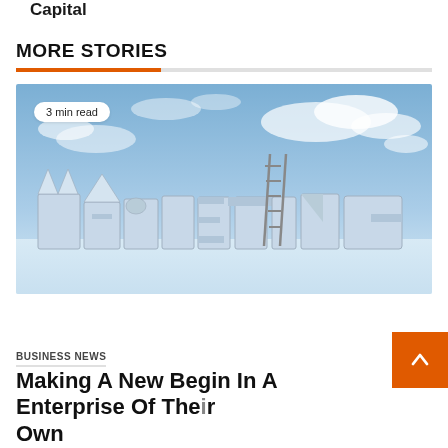Capital
MORE STORIES
[Figure (photo): 3D letters spelling MARKETING with a ladder leaning against the letters, set against a blue sky with clouds. Badge reads '3 min read'.]
BUSINESS NEWS
Making A New Begin In A Enterprise Of Their Own